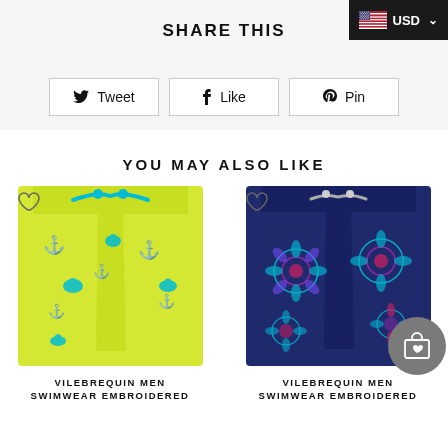SHARE THIS
USD
Tweet
Like
Pin
YOU MAY ALSO LIKE
[Figure (photo): Yellow/lime green swim trunks with teal turtle and anchor print, with teal drawstring]
VILEBREQUIN MEN SWIMWEAR EMBROIDERED
[Figure (photo): Navy blue swim trunks with colorful mandala/floral pattern in teal, pink, and purple]
VILEBREQUIN MEN SWIMWEAR EMBROIDERED